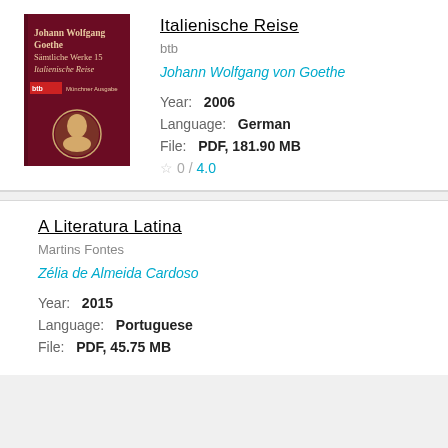[Figure (illustration): Book cover of Italienische Reise: dark red/burgundy cover with German text 'Johann Wolfgang Goethe Sämtliche Werke 15 Italienische Reise', btb Münchner Ausgabe label, and a circular cameo illustration at bottom]
Italienische Reise
btb
Johann Wolfgang von Goethe
Year: 2006
Language: German
File: PDF, 181.90 MB
0 / 4.0
A Literatura Latina
Martins Fontes
Zélia de Almeida Cardoso
Year: 2015
Language: Portuguese
File: PDF, 45.75 MB